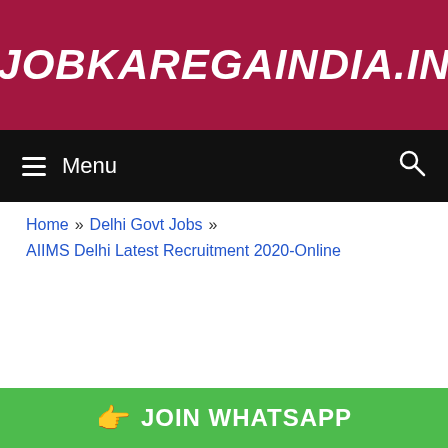JOBKAREGAINDIA.IN
Menu
Home » Delhi Govt Jobs »
AIIMS Delhi Latest Recruitment 2020-Online
👉 JOIN WHATSAPP